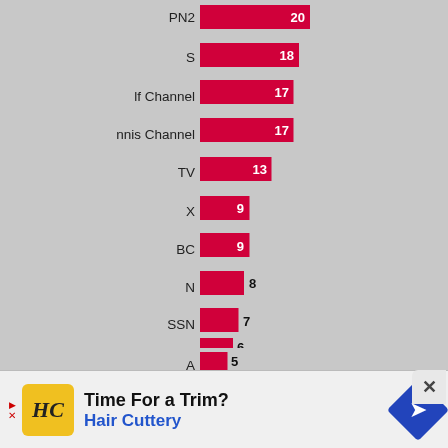[Figure (bar-chart): Sports channels bar chart]
[Figure (infographic): Advertisement banner: Time For a Trim? Hair Cuttery with logo and navigation icon]